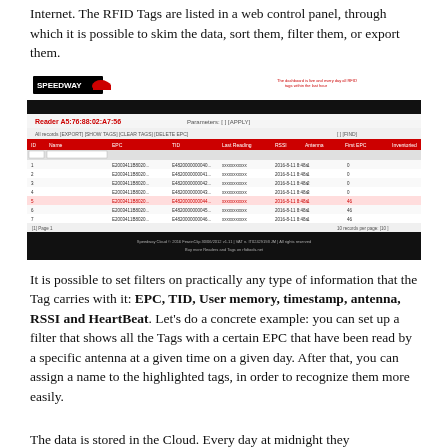Internet. The RFID Tags are listed in a web control panel, through which it is possible to skim the data, sort them, filter them, or export them.
[Figure (screenshot): Speedway Cloud web control panel screenshot showing a reader interface with RFID tag data in a table including columns for ID, Name, EPC, TID, Last Reading, RSSI, Antenna, First EPC, Inventoried.]
It is possible to set filters on practically any type of information that the Tag carries with it: EPC, TID, User memory, timestamp, antenna, RSSI and HeartBeat. Let's do a concrete example: you can set up a filter that shows all the Tags with a certain EPC that have been read by a specific antenna at a given time on a given day. After that, you can assign a name to the highlighted tags, in order to recognize them more easily.
The data is stored in the Cloud. Every day at midnight they